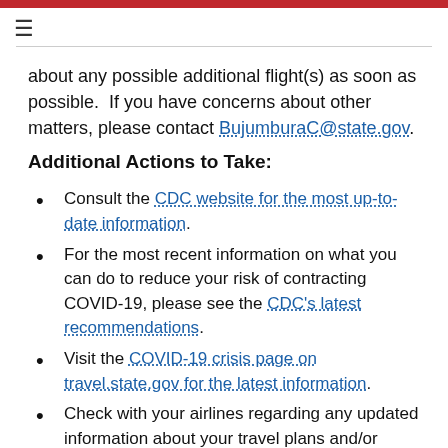about any possible additional flight(s) as soon as possible.  If you have concerns about other matters, please contact BujumburaC@state.gov.
Additional Actions to Take:
Consult the CDC website for the most up-to-date information.
For the most recent information on what you can do to reduce your risk of contracting COVID-19, please see the CDC's latest recommendations.
Visit the COVID-19 crisis page on travel.state.gov for the latest information.
Check with your airlines regarding any updated information about your travel plans and/or